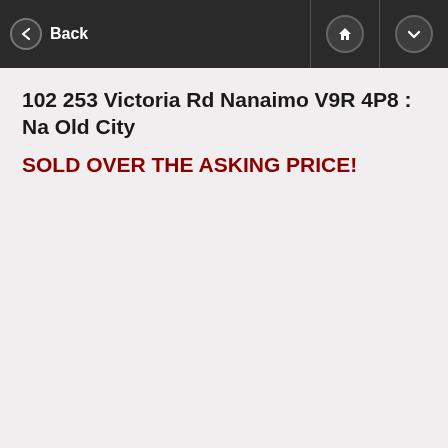Back
102 253 Victoria Rd Nanaimo V9R 4P8 : Na Old City
SOLD OVER THE ASKING PRICE!